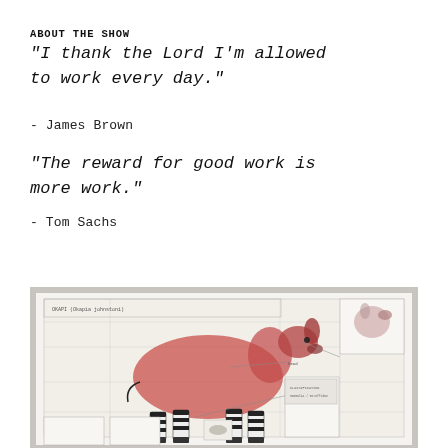ABOUT THE SHOW
"I thank the Lord I'm allowed to work every day."
- James Brown
"The reward for good work is more work."
- Tom Sachs
[Figure (photo): Framed artwork on a white wall showing a detailed blueprint/diagram of an okapi (animal with deer-like body and zebra-striped legs), rendered in ink and watercolor with red/pink coloring on the body, with technical annotations and text boxes around the figure.]